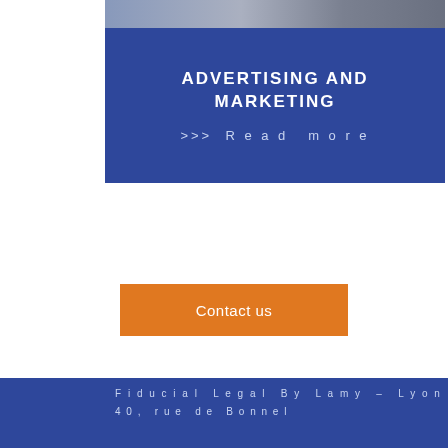[Figure (photo): Photo strip at top showing a desk/marketing materials scene]
ADVERTISING AND MARKETING
>>> Read more
Contact us
Fiducial Legal By Lamy – Lyon
40, rue de Bonnel